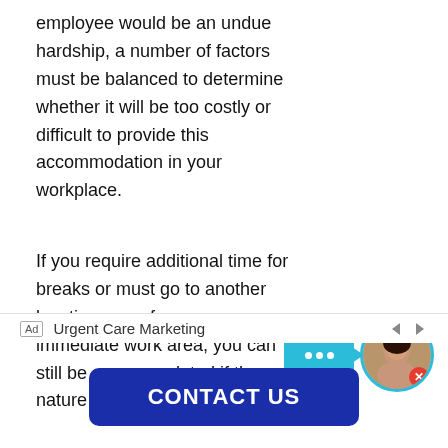employee would be an undue hardship, a number of factors must be balanced to determine whether it will be too costly or difficult to provide this accommodation in your workplace.
If you require additional time for breaks or must go to another location away from your immediate work area, you can still be accommodated if the nature of your work makes
[Figure (other): Chat widget with teal speech bubble with three dots and an X, and a circular avatar photo of a woman with a red close button]
[Figure (infographic): Ad bar with 'Ad' label and 'Urgent Care Marketing' text with navigation arrows]
[Figure (other): CONTACT US button in dark blue rounded rectangle]